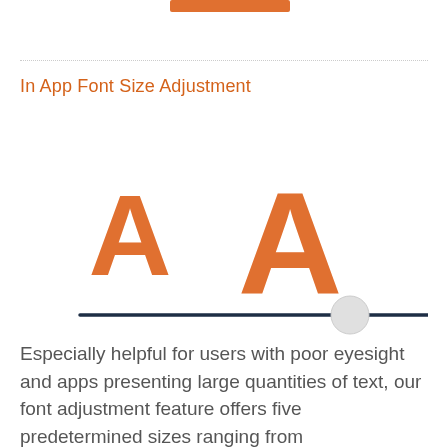[Figure (illustration): Orange decorative bar at top of page section]
In App Font Size Adjustment
[Figure (infographic): Two orange letter A characters of different sizes (smaller on left, larger on right) above a slider control with a dark blue track and a grey circular thumb positioned toward the right side, representing font size adjustment UI]
Especially helpful for users with poor eyesight and apps presenting large quantities of text, our font adjustment feature offers five predetermined sizes ranging from